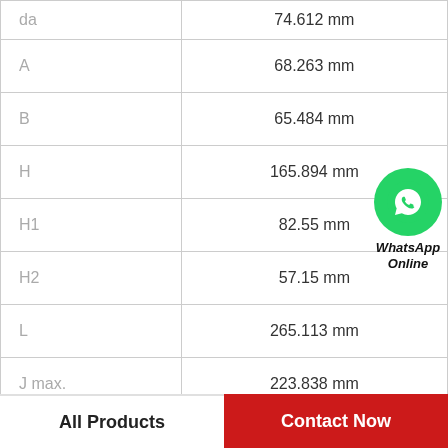| Parameter | Value |
| --- | --- |
| da | 74.612 mm |
| A | 68.263 mm |
| B | 65.484 mm |
| H | 165.894 mm |
| H1 | 82.55 mm |
| H2 | 57.15 mm |
| L | 265.113 mm |
| J max. | 223.838 mm |
| J min. | 198.438 mm |
[Figure (logo): WhatsApp Online button with green circle phone icon and italic bold text 'WhatsApp Online']
All Products    Contact Now